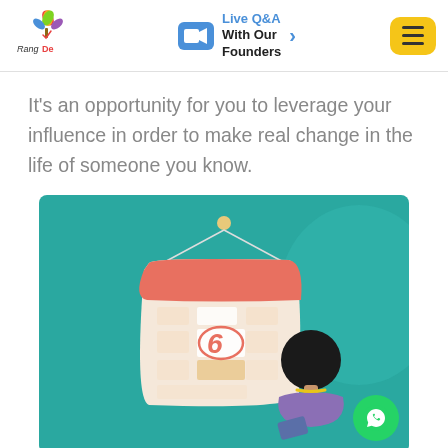Rang De — Live Q&A With Our Founders
It's an opportunity for you to leverage your influence in order to make real change in the life of someone you know.
[Figure (illustration): Illustration of a woman looking at a large calendar wall hanging with the number 6 circled in red-orange. The background is teal. There is a WhatsApp button in the bottom right corner.]